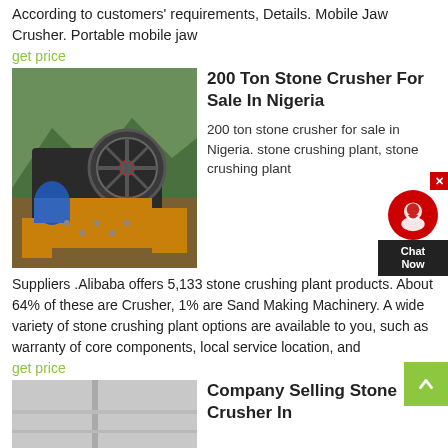According to customers' requirements, Details. Mobile Jaw Crusher. Portable mobile jaw
get price
[Figure (photo): Photo of a large yellow mobile jaw crusher machine with mountains and greenery in the background]
200 Ton Stone Crusher For Sale In Nigeria
200 ton stone crusher for sale in Nigeria. stone crushing plant, stone crushing plant Suppliers .Alibaba offers 5,133 stone crushing plant products. About 64% of these are Crusher, 1% are Sand Making Machinery. A wide variety of stone crushing plant options are available to you, such as warranty of core components, local service location, and
get price
[Figure (photo): Partial photo of a stone crusher machine, light grey/silver in color]
Company Selling Stone Crusher In